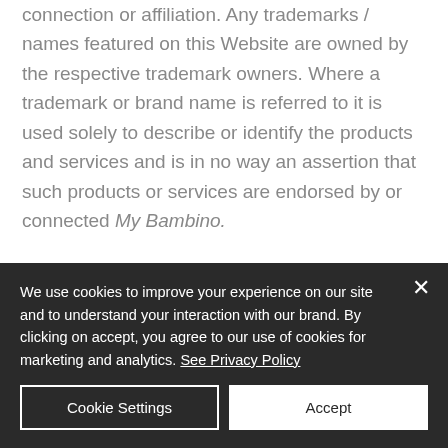connection or affiliation. Any trademarks / names featured on this Website are owned by the respective trademark owners. Where a trademark or brand name is referred to it is used solely to describe or identify the products and services and is in no way an assertion that such products or services are endorsed by or connected My Bambino.
We use cookies to improve your experience on our site and to understand your interaction with our brand. By clicking on accept, you agree to our use of cookies for marketing and analytics. See Privacy Policy